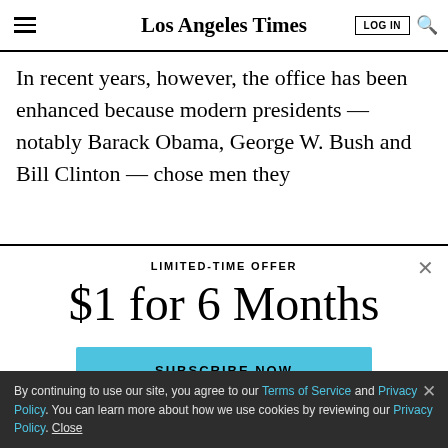Los Angeles Times
In recent years, however, the office has been enhanced because modern presidents — notably Barack Obama, George W. Bush and Bill Clinton — chose men they
LIMITED-TIME OFFER
$1 for 6 Months
SUBSCRIBE NOW
By continuing to use our site, you agree to our Terms of Service and Privacy Policy. You can learn more about how we use cookies by reviewing our Privacy Policy. Close